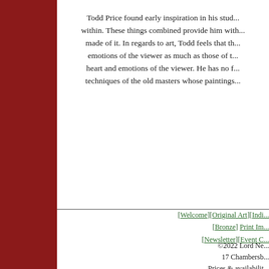Todd Price found early inspiration in his stud... within. These things combined provide him with... made of it. In regards to art, Todd feels that th... emotions of the viewer as much as those of... heart and emotions of the viewer. He has no f... techniques of the old masters whose paintings...
[Welcome][Original Art][Indi... [Bronze] Print Im... [Newsletter][Event C...
©2022 Lord Ne... 17 Chambersb... Prices & availabilit...